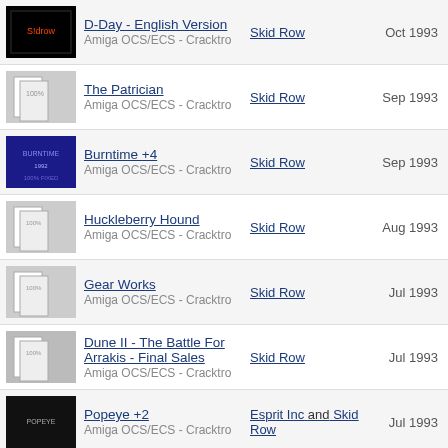D-Day - English Version | Amiga OCS/ECS - Cracktro | Skid Row | Oct 1993
The Patrician | Amiga OCS/ECS - Cracktro | Skid Row | Sep 1993
Burntime +4 | Amiga OCS/ECS - Cracktro | Skid Row | Sep 1993
Huckleberry Hound | Amiga OCS/ECS - Cracktro | Skid Row | Aug 1993
Gear Works | Amiga OCS/ECS - Cracktro | Skid Row | Jul 1993
Dune II - The Battle For Arrakis - Final Sales | Amiga OCS/ECS - Cracktro | Skid Row | Jul 1993
Popeye +2 | Amiga OCS/ECS - Cracktro | Esprit Inc and Skid Row | Jul 1993
Dreadnoughts V1.11 | Amiga OCS/ECS - Cracktro | Skid Row | May 1993
Vengeance - Graphics (font used in secret part) | Amiga OCS/ECS - Hacktro | Beta Team | May 1993